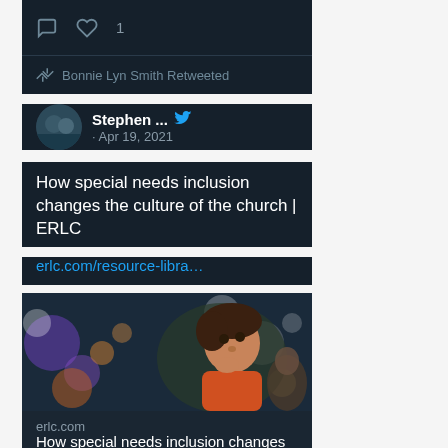[Figure (screenshot): Twitter/social media interface showing top bar with comment icon and heart icon with count 1]
Bonnie Lyn Smith Retweeted
Stephen ... · Apr 19, 2021
How special needs inclusion changes the culture of the church | ERLC
erlc.com/resource-libra...
[Figure (photo): Child looking up with bokeh lights in background]
erlc.com
How special needs inclusion changes the culture of the ...